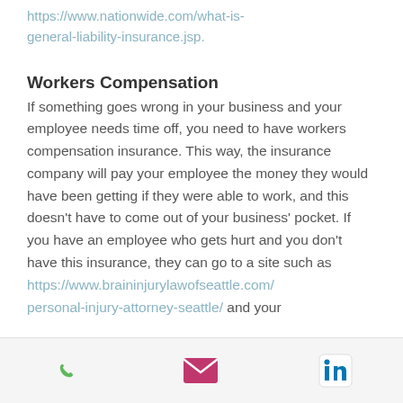https://www.nationwide.com/what-is-general-liability-insurance.jsp.
Workers Compensation
If something goes wrong in your business and your employee needs time off, you need to have workers compensation insurance. This way, the insurance company will pay your employee the money they would have been getting if they were able to work, and this doesn't have to come out of your business' pocket. If you have an employee who gets hurt and you don't have this insurance, they can go to a site such as https://www.braininjurylawofseattle.com/personal-injury-attorney-seattle/ and your
phone | email | linkedin